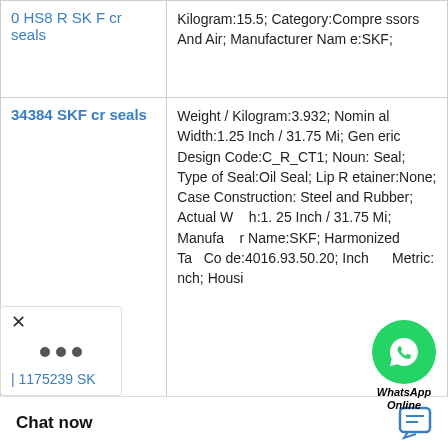| Product | Specifications |
| --- | --- |
| [...] 0 HS8 R SK F cr seals | Kilogram:15.5; Category:Compressors And Air; Manufacturer Name:SKF; |
| 34384 SKF cr seals | Weight / Kilogram:3.932; Nominal Width:1.25 Inch / 31.75 Mi; Generic Design Code:C_R_CT1; Noun:Seal; Type of Seal:Oil Seal; Lip Retainer:None; Case Construction:Steel and Rubber; Actual Width:1.25 Inch / 31.75 Mi; Manufacturer Name:SKF; Harmonized Tariff Code:4016.93.50.20; Inch - Metric:nch; Housi |
| 1175239 SK | Case Construction:Steel and Rubber; UNSPSC:31411705; Other Features:Small; Inch - Metric:Metric; Noun:Seal; Manufacturer Name:SKF; Shaft Diameter:4.134 Inc ... lid or Split Seal:So ... ring:Lip; Weight / ... ring Loaded:Yes; H |